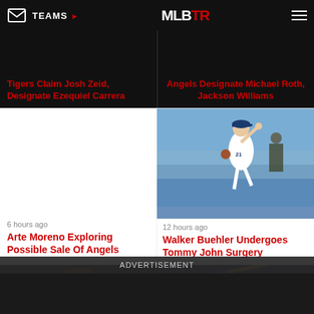TEAMS | MLBTR
Tigers Claim Josh Zeid, Designate Ezequiel Carrera
Angels Designate Michael Roth, Jackson Williams
6 hours ago
Arte Moreno Exploring Possible Sale Of Angels
[Figure (photo): Walker Buehler pitching in Dodgers uniform #21]
12 hours ago
Walker Buehler Undergoes Tommy John Surgery
[Figure (photo): San Diego Padres player wearing brown SD cap]
[Figure (photo): Dodgers player batting, wearing blue helmet]
ADVERTISEMENT